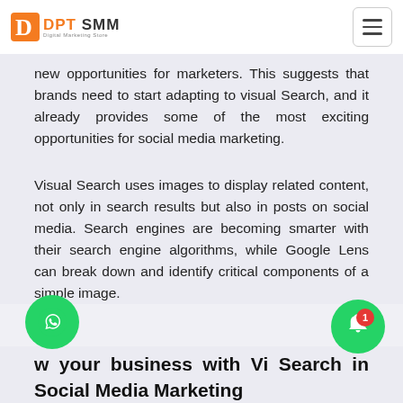DPT SMM
new opportunities for marketers. This suggests that brands need to start adapting to visual Search, and it already provides some of the most exciting opportunities for social media marketing.
Visual Search uses images to display related content, not only in search results but also in posts on social media. Search engines are becoming smarter with their search engine algorithms, while Google Lens can break down and identify critical components of a simple image.
w your business with Vi Search in Social Media Marketing